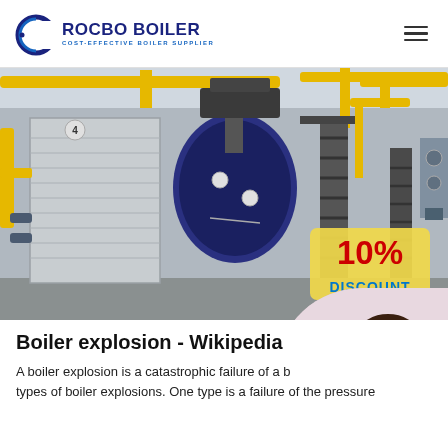ROCBO BOILER — COST-EFFECTIVE BOILER SUPPLIER
[Figure (photo): Industrial boiler room with large cylindrical boilers, yellow pipes, and metal staircases. A '10% DISCOUNT' badge is overlaid in the bottom-right corner.]
Boiler explosion - Wikipedia
A boiler explosion is a catastrophic failure of a b... types of boiler explosions. One type is a failure of the pressure